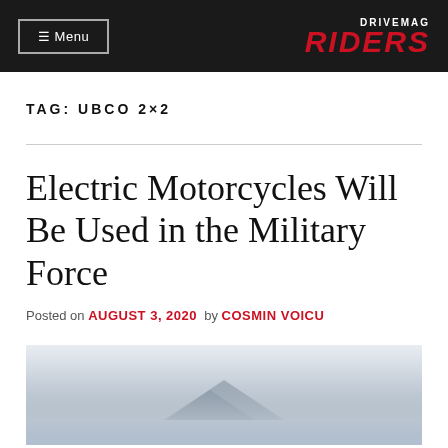☰ Menu | DRIVEMAG RIDERS
TAG: UBCO 2×2
Electric Motorcycles Will Be Used in the Military Force
Posted on AUGUST 3, 2020  by COSMIN VOICU
[Figure (photo): Motorcycle in misty mountain landscape]